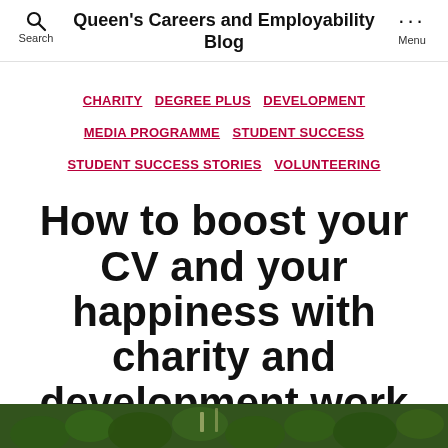Queen's Careers and Employability Blog
CHARITY  DEGREE PLUS  DEVELOPMENT  MEDIA PROGRAMME  STUDENT SUCCESS  STUDENT SUCCESS STORIES  VOLUNTEERING
How to boost your CV and your happiness with charity and development work
No Comments
[Figure (photo): Photo strip of green leafy plants/foliage at the bottom of the page]